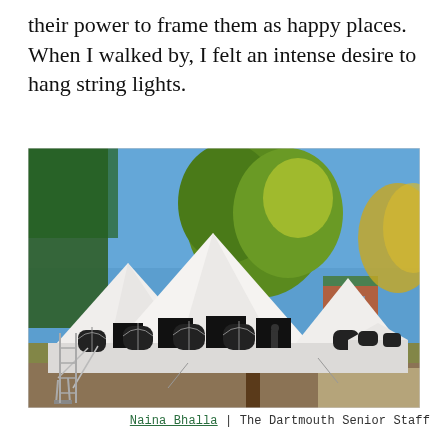their power to frame them as happy places. When I walked by, I felt an intense desire to hang string lights.
[Figure (photo): Outdoor photograph of a large white event tent with pointed peaks, black interior draping visible through arched windows, set among trees with green and yellow foliage against a blue sky. A brick building is visible in the background to the right.]
Naina Bhalla | The Dartmouth Senior Staff